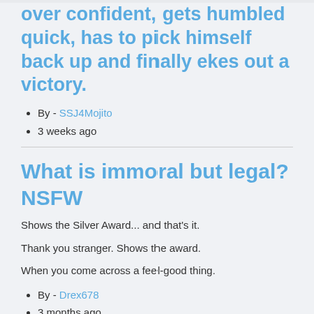over confident, gets humbled quick, has to pick himself back up and finally ekes out a victory.
By - SSJ4Mojito
3 weeks ago
What is immoral but legal? NSFW
Shows the Silver Award... and that's it.
Thank you stranger. Shows the award.
When you come across a feel-good thing.
By - Drex678
3 months ago
What books should be